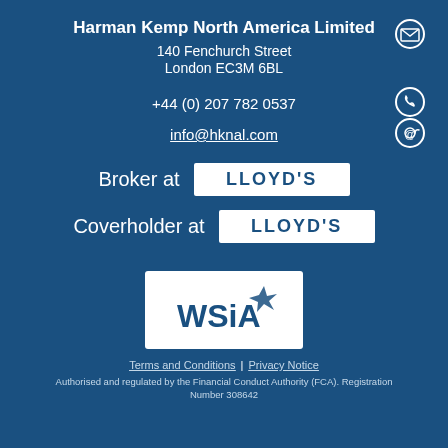Harman Kemp North America Limited
140 Fenchurch Street
London EC3M 6BL
+44 (0) 207 782 0537
info@hknal.com
Broker at LLOYD'S
Coverholder at LLOYD'S
[Figure (logo): WSIA logo - white text on blue background with stylized star/arrow icon]
Terms and Conditions | Privacy Notice
Authorised and regulated by the Financial Conduct Authority (FCA). Registration Number 308642